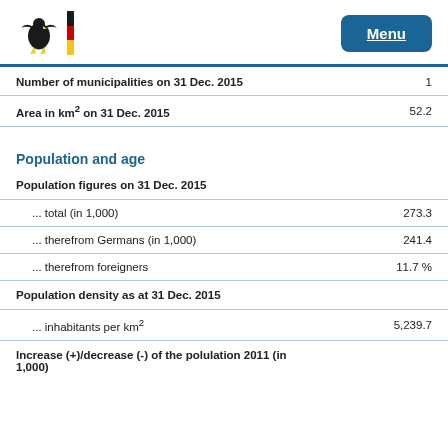Menu
| Label | Value |
| --- | --- |
| Number of municipalities on 31 Dec. 2015 | 1 |
| Area in km² on 31 Dec. 2015 | 52.2 |
Population and age
| Label | Value |
| --- | --- |
| Population figures on 31 Dec. 2015 |  |
| ... total (in 1,000) | 273.3 |
| ... therefrom Germans (in 1,000) | 241.4 |
| ... therefrom foreigners | 11.7 % |
| Population density as at 31 Dec. 2015 |  |
| ... inhabitants per km² | 5,239.7 |
| Increase (+)/decrease (-) of the polulation 2011 (in 1,000) |  |